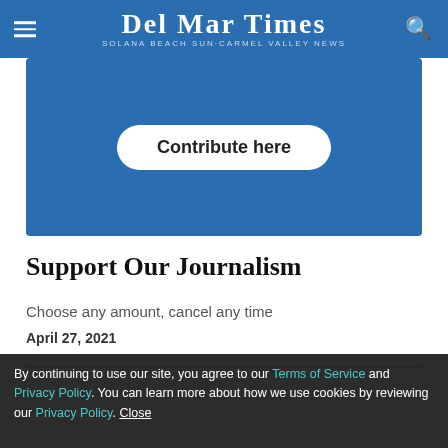Del Mar Times — Solana Beach Sun·Carmel Valley News
[Figure (other): Blue promotional box with a 'Contribute here' button]
Support Our Journalism
Choose any amount, cancel any time
April 27, 2021
[Figure (illustration): Envelope graphic with bold text 'Click Here to Submit a']
By continuing to use our site, you agree to our Terms of Service and Privacy Policy. You can learn more about how we use cookies by reviewing our Privacy Policy. Close